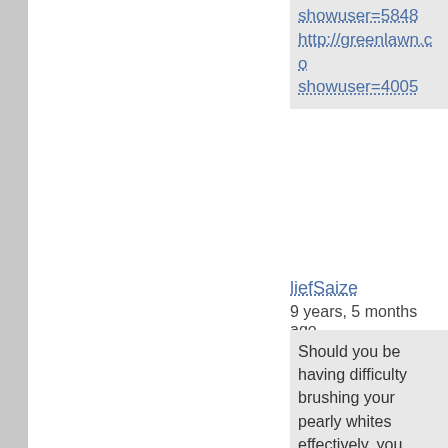showuser=5848
http://greenlawn.co showuser=4005
liefSaize
9 years, 5 months ago
Should you be having difficulty brushing your pearly whites effectively, you should think of receiving an electr powered brush. These products ar very effective and